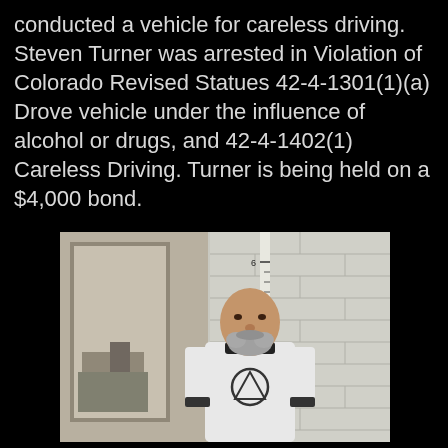conducted a vehicle for careless driving. Steven Turner was arrested in Violation of Colorado Revised Statues 42-4-1301(1)(a) Drove vehicle under the influence of alcohol or drugs, and 42-4-1402(1) Careless Driving. Turner is being held on a $4,000 bond.
[Figure (photo): Mugshot of Steven Turner, a middle-aged bald man with a grey beard, wearing a white t-shirt with a Volcom logo (circle with triangle inside). He is standing in front of a white brick wall with a height measurement ruler behind him showing between 5 and 6 feet. To the left is a doorway showing an office area.]